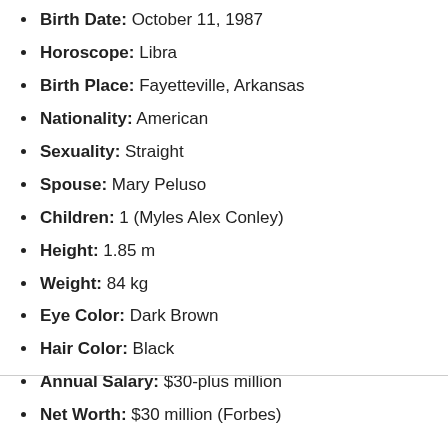Birth Date: October 11, 1987
Horoscope: Libra
Birth Place: Fayetteville, Arkansas
Nationality: American
Sexuality: Straight
Spouse: Mary Peluso
Children: 1 (Myles Alex Conley)
Height: 1.85 m
Weight: 84 kg
Eye Color: Dark Brown
Hair Color: Black
Annual Salary: $30-plus million
Net Worth: $30 million (Forbes)